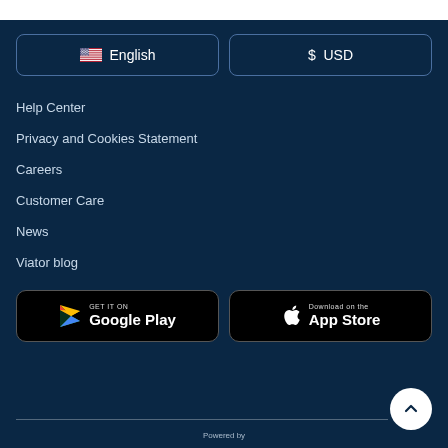[Figure (other): Language selector button showing US flag and 'English']
[Figure (other): Currency selector button showing '$ USD']
Help Center
Privacy and Cookies Statement
Careers
Customer Care
News
Viator blog
[Figure (other): Google Play store download button]
[Figure (other): Apple App Store download button]
Powered by